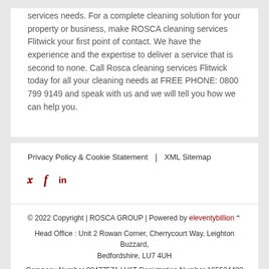services needs. For a complete cleaning solution for your property or business, make ROSCA cleaning services Flitwick your first point of contact. We have the experience and the expertise to deliver a service that is second to none. Call Rosca cleaning services Flitwick today for all your cleaning needs at FREE PHONE: 0800 799 9149 and speak with us and we will tell you how we can help you.
Privacy Policy & Cookie Statement | XML Sitemap
© 2022 Copyright | ROSCA GROUP | Powered by eleventybillion
Head Office : Unit 2 Rowan Corner, Cherrycourt Way, Leighton Buzzard, Bedfordshire, LU7 4UH
Company Number 08477571 | VAT Registration Number 165534402